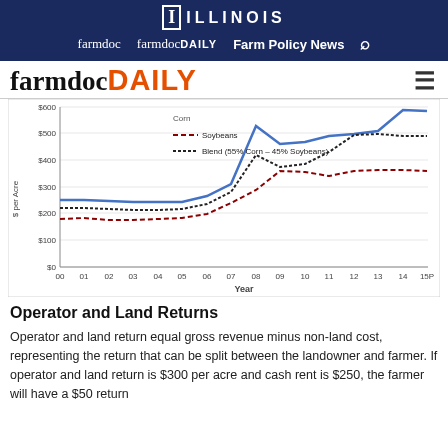ILLINOIS — farmdoc  farmdocDAILY  Farm Policy News
farmdocDAILY
[Figure (line-chart): $ per Acre over Year]
Operator and Land Returns
Operator and land return equal gross revenue minus non-land cost, representing the return that can be split between the landowner and farmer. If operator and land return is $300 per acre and cash rent is $250, the farmer will have a $50 return